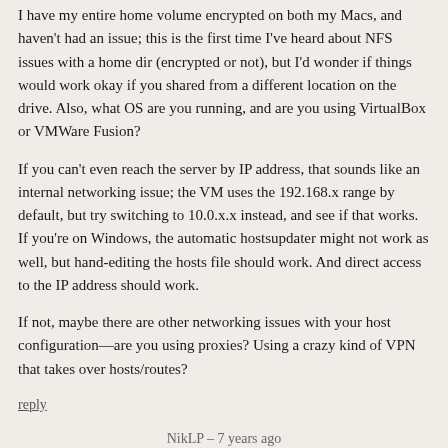I have my entire home volume encrypted on both my Macs, and haven't had an issue; this is the first time I've heard about NFS issues with a home dir (encrypted or not), but I'd wonder if things would work okay if you shared from a different location on the drive. Also, what OS are you running, and are you using VirtualBox or VMWare Fusion?
If you can't even reach the server by IP address, that sounds like an internal networking issue; the VM uses the 192.168.x range by default, but try switching to 10.0.x.x instead, and see if that works. If you're on Windows, the automatic hostsupdater might not work as well, but hand-editing the hosts file should work. And direct access to the IP address should work.
If not, maybe there are other networking issues with your host configuration—are you using proxies? Using a crazy kind of VPN that takes over hosts/routes?
reply
NikLP – 7 years ago